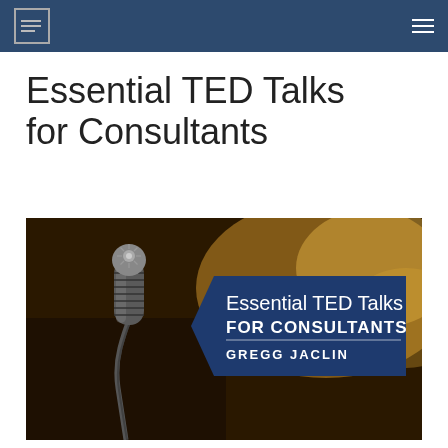Essential TED Talks for Consultants – Gregg Jaclin
Essential TED Talks for Consultants
[Figure (illustration): Book cover image showing a microphone on a dark blurred background with a blue banner overlay reading 'Essential TED Talks For Consultants – Gregg Jaclin']